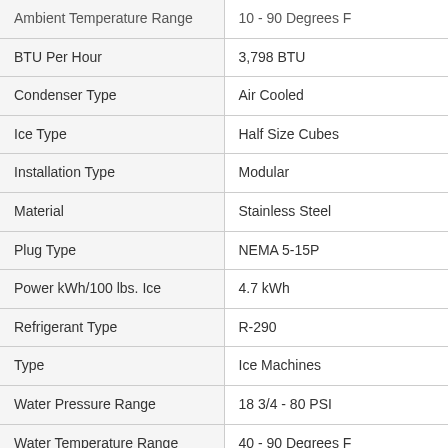| Specification | Value |
| --- | --- |
| Ambient Temperature Range | 10 - 90 Degrees F |
| BTU Per Hour | 3,798 BTU |
| Condenser Type | Air Cooled |
| Ice Type | Half Size Cubes |
| Installation Type | Modular |
| Material | Stainless Steel |
| Plug Type | NEMA 5-15P |
| Power kWh/100 lbs. Ice | 4.7 kWh |
| Refrigerant Type | R-290 |
| Type | Ice Machines |
| Water Pressure Range | 18 3/4 - 80 PSI |
| Water Temperature Range | 40 - 90 Degrees F |
| Water Usage | 13.6 Gallons per 100 lbs. |